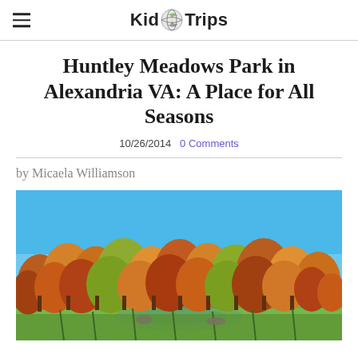KidTrips
Huntley Meadows Park in Alexandria VA: A Place for All Seasons
10/26/2014  0 Comments
by Micaela Williamson
[Figure (photo): Autumn landscape at Huntley Meadows Park showing colorful fall foliage trees — orange, red, yellow, green — surrounding a open meadow with a small pond or wetland area under a bright blue sky.]